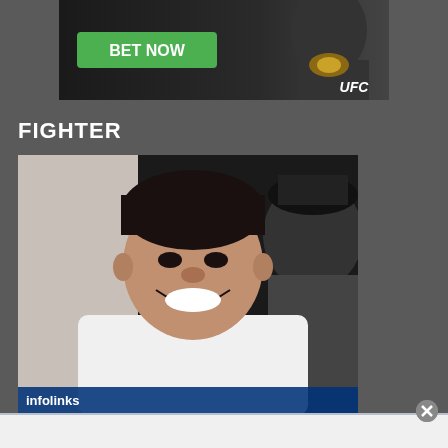[Figure (screenshot): UFC/sports betting advertisement banner with green 'BET NOW' button and UFC logo on dark background]
FIGHTER
[Figure (photo): Photo of a smiling young man with neck tattoos wearing a white t-shirt, with another person partially visible behind him]
[Figure (screenshot): Infolinks advertisement overlay bar at bottom of fighter photo, with close button (x) on the right]